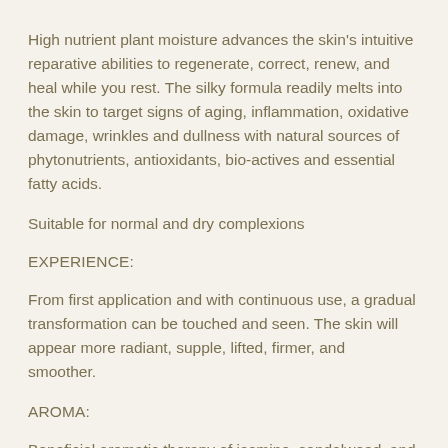High nutrient plant moisture advances the skin's intuitive reparative abilities to regenerate, correct, renew, and heal while you rest. The silky formula readily melts into the skin to target signs of aging, inflammation, oxidative damage, wrinkles and dullness with natural sources of phytonutrients, antioxidants, bio-actives and essential fatty acids.
Suitable for normal and dry complexions
EXPERIENCE:
From first application and with continuous use, a gradual transformation can be touched and seen. The skin will appear more radiant, supple, lifted, firmer, and smoother.
AROMA:
Beneficial aromatic therapy of jasmine, sandalwood, and myrrh